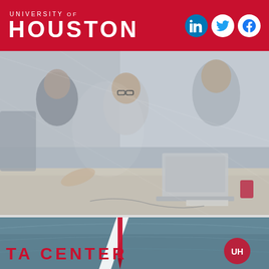UNIVERSITY of HOUSTON
[Figure (photo): Students and professionals working at a table in an office or study space, viewed through glass. A woman with glasses is using a laptop, others are standing and interacting nearby. The image has a slightly blurred, overlapping glass-reflection effect.]
[Figure (photo): Close-up of what appears to be a teal/blue cylindrical object with a white diagonal stripe and a red syringe or pen. Partial text reading 'TA CENTER' visible in red letters on what appears to be a sign or poster, with a UH logo visible.]